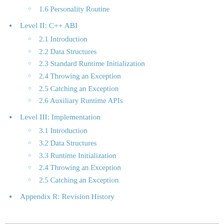1.6 Personality Routine
Level II: C++ ABI
2.1 Introduction
2.2 Data Structures
2.3 Standard Runtime Initialization
2.4 Throwing an Exception
2.5 Catching an Exception
2.6 Auxiliary Runtime APIs
Level III: Implementation
3.1 Introduction
3.2 Data Structures
3.3 Runtime Initialization
2.4 Throwing an Exception
2.5 Catching an Exception
Appendix R: Revision History